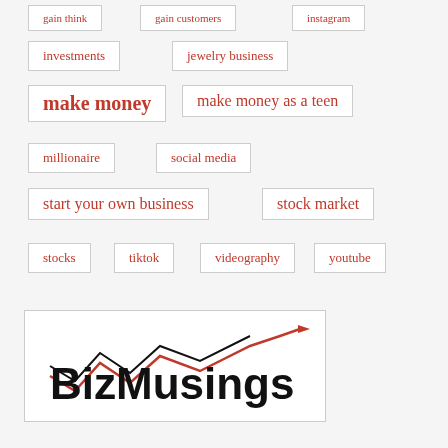gain think
gain customers
instagram
investments
jewelry business
make money
make money as a teen
millionaire
social media
start your own business
stock market
stocks
tiktok
videography
youtube
[Figure (logo): BizMusings logo with stock chart line graphic in black and red]